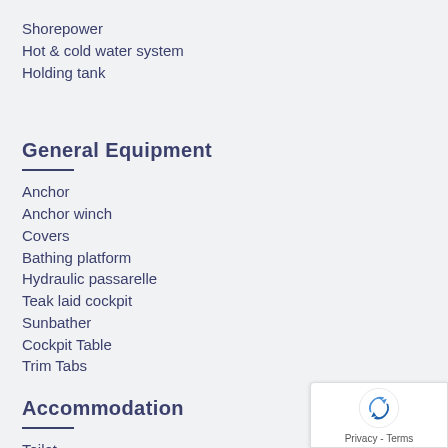Shorepower
Hot & cold water system
Holding tank
General Equipment
Anchor
Anchor winch
Covers
Bathing platform
Hydraulic passarelle
Teak laid cockpit
Sunbather
Cockpit Table
Trim Tabs
Accommodation
Toilet
Accommodation - 4 Berths in 2 Cabins (Double & twin sing